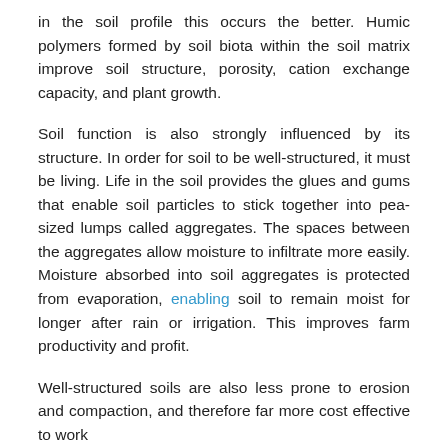in the soil profile this occurs the better. Humic polymers formed by soil biota within the soil matrix improve soil structure, porosity, cation exchange capacity, and plant growth.
Soil function is also strongly influenced by its structure. In order for soil to be well-structured, it must be living. Life in the soil provides the glues and gums that enable soil particles to stick together into pea-sized lumps called aggregates. The spaces between the aggregates allow moisture to infiltrate more easily. Moisture absorbed into soil aggregates is protected from evaporation, enabling soil to remain moist for longer after rain or irrigation. This improves farm productivity and profit.
Well-structured soils are also less prone to erosion and compaction, and therefore far more cost effective to work...